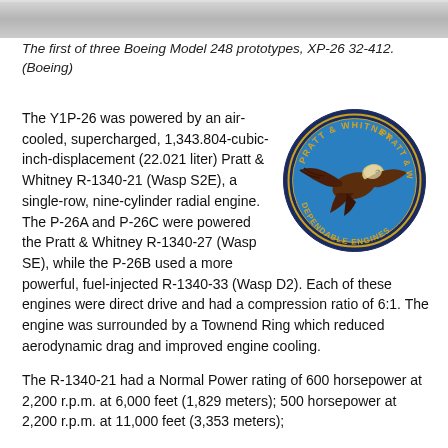[Figure (photo): Gray-toned partial photograph of an aircraft, cropped at top of page]
The first of three Boeing Model 248 prototypes, XP-26 32-412. (Boeing)
The Y1P-26 was powered by an air-cooled, supercharged, 1,343.804-cubic-inch-displacement (22.021 liter) Pratt & Whitney R-1340-21 (Wasp S2E), a single-row, nine-cylinder radial engine. The P-26A and P-26C were powered the Pratt & Whitney R-1340-27 (Wasp SE), while the P-26B used a more powerful, fuel-injected R-1340-33 (Wasp D2). Each of these engines were direct drive and had a compression ratio of 6:1. The engine was surrounded by a Townend Ring which reduced aerodynamic drag and improved engine cooling.
[Figure (logo): Pratt & Whitney Dependable Engines circular logo with eagle]
The R-1340-21 had a Normal Power rating of 600 horsepower at 2,200 r.p.m. at 6,000 feet (1,829 meters); 500 horsepower at 2,200 r.p.m. at 11,000 feet (3,353 meters);